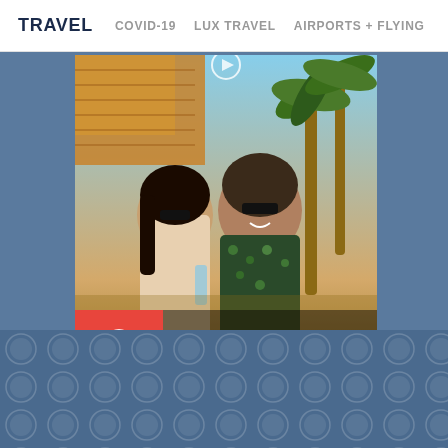TRAVEL   COVID-19   LUX TRAVEL   AIRPORTS + FLYING
[Figure (photo): Two people at a tropical beach bar setting. A woman and man wearing sunglasses, with palm trees and thatched roof in background. Overlay shows TikTok promotional banner: 'Follow us on TikTok @matadornetwork' with TikTok logo on red background.]